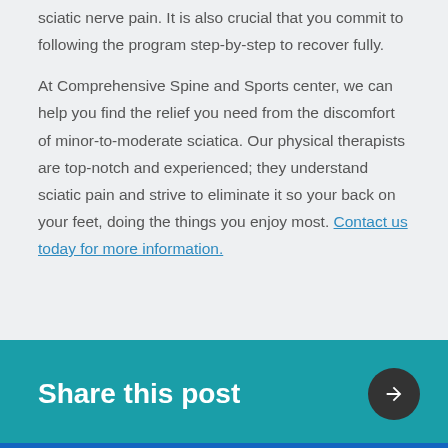sciatic nerve pain. It is also crucial that you commit to following the program step-by-step to recover fully.
At Comprehensive Spine and Sports center, we can help you find the relief you need from the discomfort of minor-to-moderate sciatica. Our physical therapists are top-notch and experienced; they understand sciatic pain and strive to eliminate it so your back on your feet, doing the things you enjoy most. Contact us today for more information.
PHYSICAL THERAPIST IN ESSEX MD
Share this post